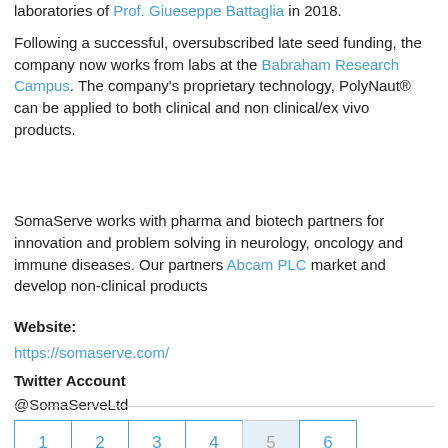laboratories of Prof. Giueseppe Battaglia in 2018.
Following a successful, oversubscribed late seed funding, the company now works from labs at the Babraham Research Campus. The company's proprietary technology, PolyNaut® can be applied to both clinical and non clinical/ex vivo products.
SomaServe works with pharma and biotech partners for innovation and problem solving in neurology, oncology and immune diseases. Our partners Abcam PLC market and develop non-clinical products
Website:
https://somaserve.com/
Twitter Account
@SomaServeLtd
1 2 3 4 5 6